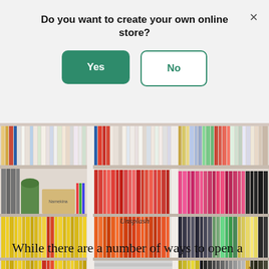Do you want to create your own online store?
Yes
No
[Figure (photo): A photograph of a large bookshelf filled with colorful books arranged on multiple shelves, with a small plant and a box labeled 'Namekina' visible among the books.]
Unsplash
While there are a number of ways to open a